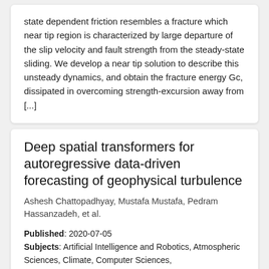state dependent friction resembles a fracture which near tip region is characterized by large departure of the slip velocity and fault strength from the steady-state sliding. We develop a near tip solution to describe this unsteady dynamics, and obtain the fracture energy Gc, dissipated in overcoming strength-excursion away from [...]
Deep spatial transformers for autoregressive data-driven forecasting of geophysical turbulence
Ashesh Chattopadhyay, Mustafa Mustafa, Pedram Hassanzadeh, et al.
Published: 2020-07-05
Subjects: Artificial Intelligence and Robotics, Atmospheric Sciences, Climate, Computer Sciences, Dynamical Systems, Earth Sciences, Environmental...